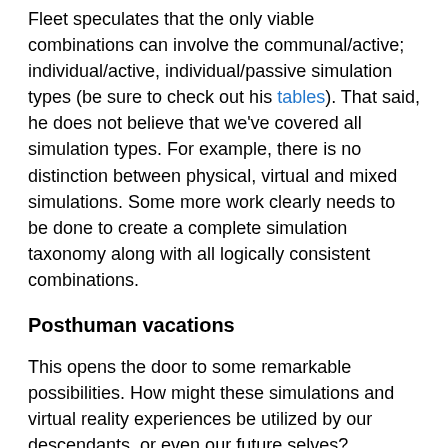Fleet speculates that the only viable combinations can involve the communal/active; individual/active, individual/passive simulation types (be sure to check out his tables). That said, he does not believe that we've covered all simulation types. For example, there is no distinction between physical, virtual and mixed simulations. Some more work clearly needs to be done to create a complete simulation taxonomy along with all logically consistent combinations.
Posthuman vacations
This opens the door to some remarkable possibilities. How might these simulations and virtual reality experiences be utilized by our descendants, or even our future selves?
It's conceivable that people might take virtual reality 'trips' to the past quite frequently. They would also likely be used on an occasional basis during history lessons for those with a particular interest in experiencing what it was like to live during certain periods of the past (Bostrom's Ancestor Simulations come to mind).